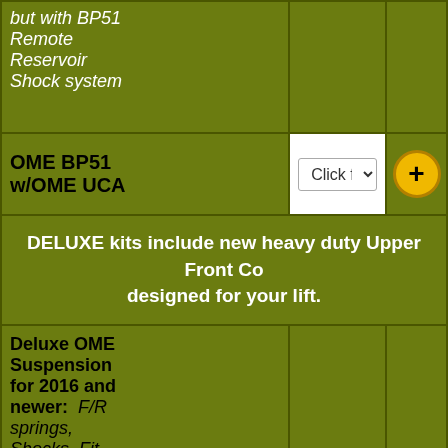but with BP51 Remote Reservoir Shock system
OME BP51 w/OME UCA
Click for pricing
DELUXE kits include new heavy duty Upper Front Control Arms designed for your lift.
Deluxe OME Suspension for 2016 and newer: F/R springs, Shocks, Fit Kit, Spring Bushings, Ubolts, Trim
Click for pricing